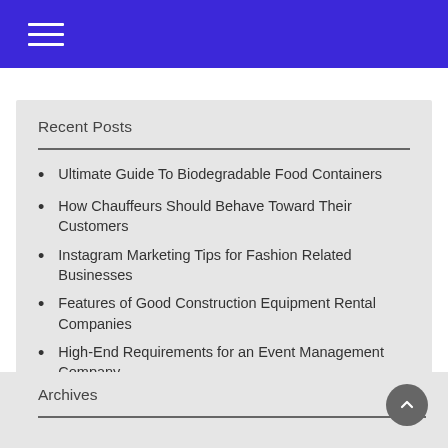Navigation menu
Recent Posts
Ultimate Guide To Biodegradable Food Containers
How Chauffeurs Should Behave Toward Their Customers
Instagram Marketing Tips for Fashion Related Businesses
Features of Good Construction Equipment Rental Companies
High-End Requirements for an Event Management Company
Archives